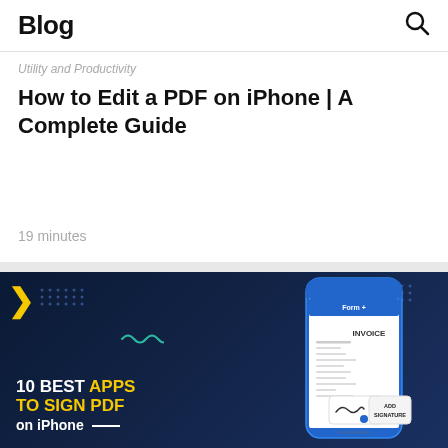Blog
Utility and Productivity
How to Edit a PDF on iPhone | A Complete Guide
19 minutes
[Figure (illustration): Dark navy banner image showing a smartphone with an INVOICE PDF and an 'ADD SIGNATURE' button overlay, with bold text reading '10 BEST APPS TO SIGN PDF on iPhone'. Yellow chevron on left, decorative dots in corners, wavy accent lines.]